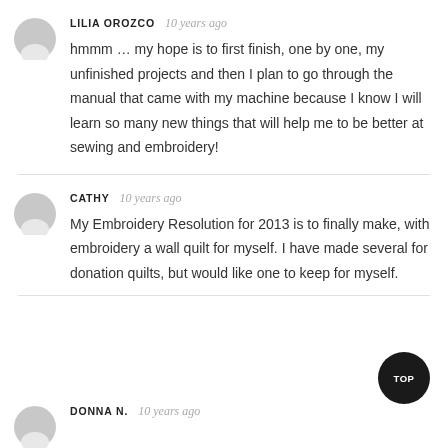LILIA OROZCO  10 years ago
hmmm … my hope is to first finish, one by one, my unfinished projects and then I plan to go through the manual that came with my machine because I know I will learn so many new things that will help me to be better at sewing and embroidery!
CATHY  10 years ago
My Embroidery Resolution for 2013 is to finally make, with embroidery a wall quilt for myself. I have made several for donation quilts, but would like one to keep for myself.
DONNA N.  10 years ago